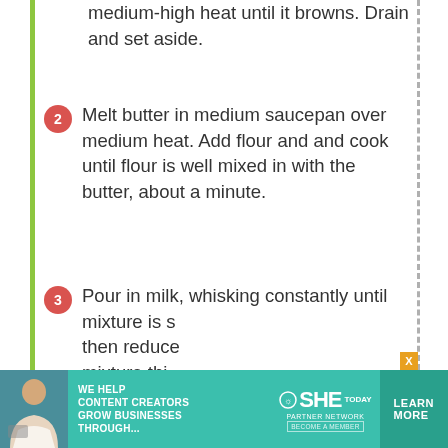medium-high heat until it browns. Drain and set aside.
2 Melt butter in medium saucepan over medium heat. Add flour and and cook until flour is well mixed in with the butter, about a minute.
3 Pour in milk, whisking constantly until mixture is s then reduce mixture thi minutes, sti
4 Meanwhile package directions, drain it and return to pot.
[Figure (infographic): Advertisement banner: SHE Media partner network - We help content creators grow businesses through... Learn More]